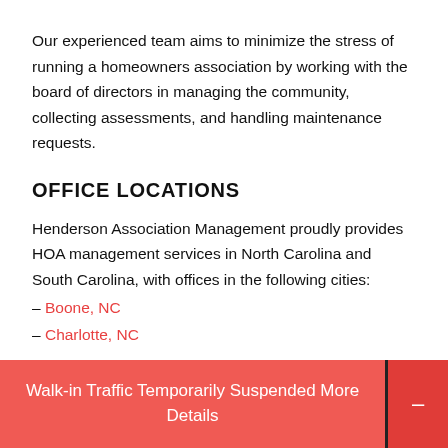Our experienced team aims to minimize the stress of running a homeowners association by working with the board of directors in managing the community, collecting assessments, and handling maintenance requests.
OFFICE LOCATIONS
Henderson Association Management proudly provides HOA management services in North Carolina and South Carolina, with offices in the following cities:
– Boone, NC
– Charlotte, NC
Walk-in Traffic Temporarily Suspended More Details